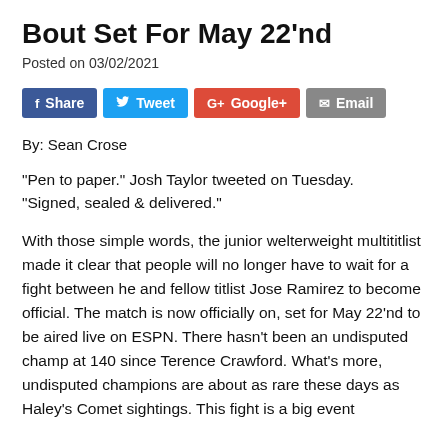Bout Set For May 22'nd
Posted on 03/02/2021
[Figure (infographic): Social sharing buttons: Share (Facebook, blue), Tweet (Twitter, light blue), Google+ (red), Email (gray)]
By: Sean Crose
“Pen to paper.” Josh Taylor tweeted on Tuesday. “Signed, sealed & delivered.”
With those simple words, the junior welterweight multititlist made it clear that people will no longer have to wait for a fight between he and fellow titlist Jose Ramirez to become official. The match is now officially on, set for May 22’nd to be aired live on ESPN. There hasn’t been an undisputed champ at 140 since Terence Crawford. What’s more, undisputed champions are about as rare these days as Haley’s Comet sightings. This fight is a big event